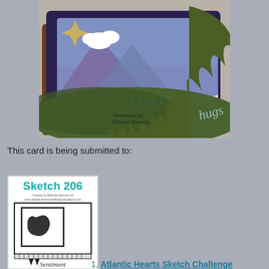[Figure (photo): Close-up photo of a handmade greeting card featuring a scenic landscape with mountains, green tree die-cuts, a sun, clouds, and small stamped pine trees. Text reads 'Handmade by Melanie Richards'.]
This card is being submitted to:
[Figure (photo): Thumbnail image of 'Sketch 206' card layout challenge showing a sketch with a square image panel, banner/flags, and 'Sentiment' label at the bottom.]
1. Atlantic Hearts Sketch Challenge